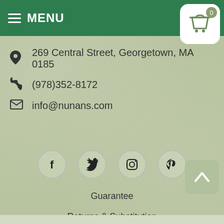MENU
269 Central Street, Georgetown, MA 0185...
(978)352-8172
info@nunans.com
[Figure (illustration): Social media icons row: Facebook, Twitter, Instagram, Pinterest — each in a circular border]
Guarantee
Returns & Substitution
Policies, Terms & Conditions